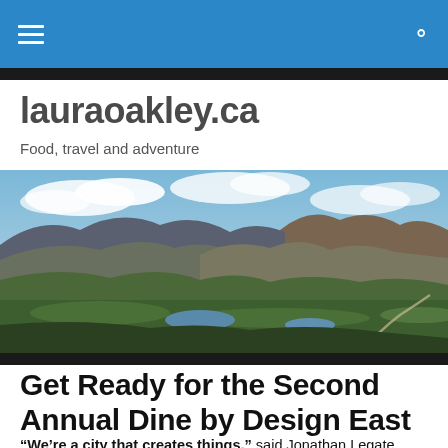lauraoakley.ca navigation bar
lauraoakley.ca
Food, travel and adventure
[Figure (photo): Panoramic landscape photograph of a mountain valley with green fields, a lake in the middle distance, and mountain ridges under a partly cloudy sky]
Get Ready for the Second Annual Dine by Design East
“We’re a city that creates things,” said Jonathan Legate